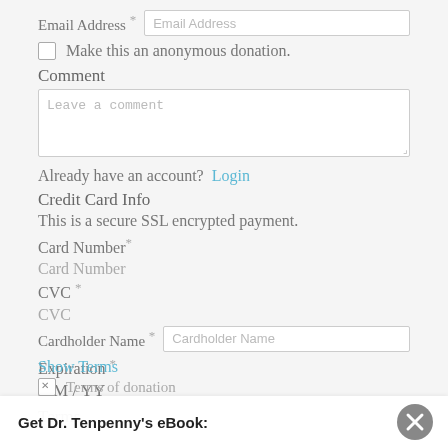Email Address *  [Email Address input]
Make this an anonymous donation.
Comment
Leave a comment
Already have an account?  Login
Credit Card Info
This is a secure SSL encrypted payment.
Card Number *
Card Number
CVC *
CVC
Cardholder Name *  [Cardholder Name input]
Expiration *
MM / YY
Terms
Show Terms
Get Dr. Tenpenny's eBook:
Terms of donation